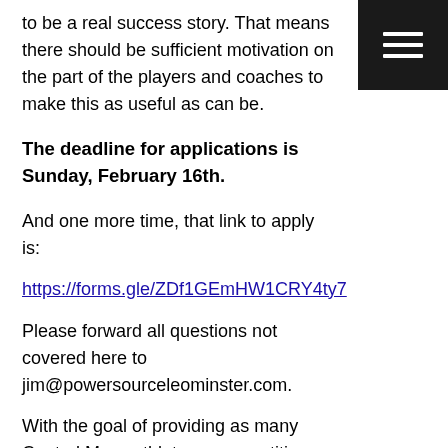to be a real success story. That means there should be sufficient motivation on the part of the players and coaches to make this as useful as can be.
The deadline for applications is Sunday, February 16th.
And one more time, that link to apply is:
https://forms.gle/ZDf1GEmHW1CRY4ty7
Please forward all questions not covered here to jim@powersourceleominster.com.
With the goal of providing as many Central Mass athletes a competitive advantage in their workouts as possible, it is exciting to be able to offer something like this for the first time ever.